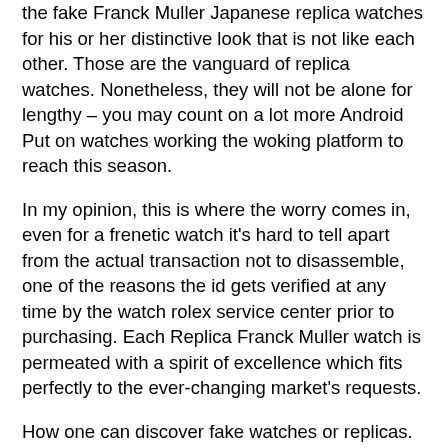the fake Franck Muller Japanese replica watches for his or her distinctive look that is not like each other. Those are the vanguard of replica watches. Nonetheless, they will not be alone for lengthy – you may count on a lot more Android Put on watches working the woking platform to reach this season.
In my opinion, this is where the worry comes in, even for a frenetic watch it's hard to tell apart from the actual transaction not to disassemble, one of the reasons the id gets verified at any time by the watch rolex service center prior to purchasing. Each Replica Franck Muller watch is permeated with a spirit of excellence which fits perfectly to the ever-changing market's requests.
How one can discover fake watches or replicas. We offer more than 150 totally different replica watches from Frank muller brings you the best quality imitation watches you can find in China. Either they've bothered to allow because for the performance for the seller